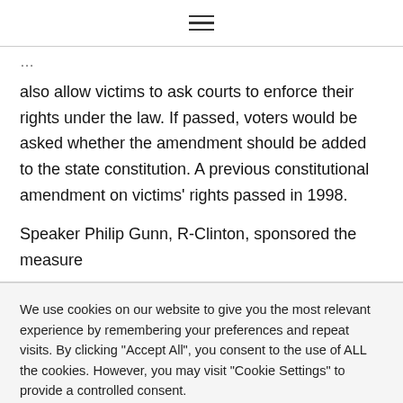☰
also allow victims to ask courts to enforce their rights under the law. If passed, voters would be asked whether the amendment should be added to the state constitution. A previous constitutional amendment on victims' rights passed in 1998.
Speaker Philip Gunn, R-Clinton, sponsored the measure
We use cookies on our website to give you the most relevant experience by remembering your preferences and repeat visits. By clicking "Accept All", you consent to the use of ALL the cookies. However, you may visit "Cookie Settings" to provide a controlled consent.